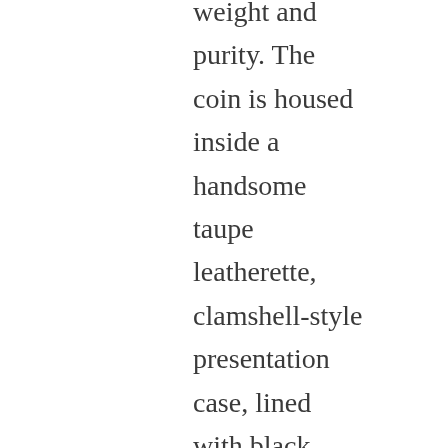weight and purity. The coin is housed inside a handsome taupe leatherette, clamshell-style presentation case, lined with black velvet and satin, and protected by a full-color outer